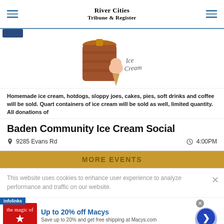River Cities Tribune & Register
[Figure (illustration): Ice cream social illustration with wooden ice cream churn bucket and ice cream cone, with 'Ice Cream' script text]
Homemade ice cream, hotdogs, sloppy joes, cakes, pies, soft drinks and coffee will be sold. Quart containers of ice cream will be sold as well, limited quantity. All donations of
Baden Community Ice Cream Social
9285 Evans Rd   4:00PM
MORE EVENTS
This website uses cookies to enhance user experience to analyze performance and traffic on our website.
[Figure (advertisement): Macy's ad: Up to 20% off Macys. Save up to 20% and get free shipping at Macys.com]